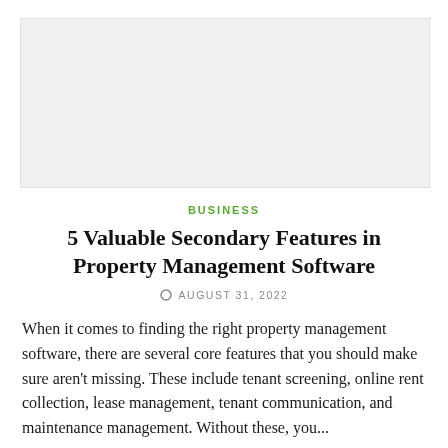[Figure (photo): Light gray image placeholder area at the top of the page]
BUSINESS
5 Valuable Secondary Features in Property Management Software
AUGUST 31, 2022
When it comes to finding the right property management software, there are several core features that you should make sure aren't missing. These include tenant screening, online rent collection, lease management, tenant communication, and maintenance management. Without these, you...